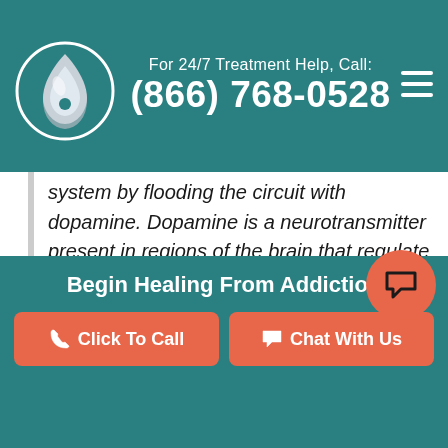For 24/7 Treatment Help, Call: (866) 768-0528
system by flooding the circuit with dopamine. Dopamine is a neurotransmitter present in regions of the brain that regulate movement, emotion, cognition, motivation, and reinforcement of rewarding behaviors. When activated at normal levels, this system rewards our natural behaviors. Overstimulating the system with drugs,
Begin Healing From Addiction | Click To Call | Chat With Us